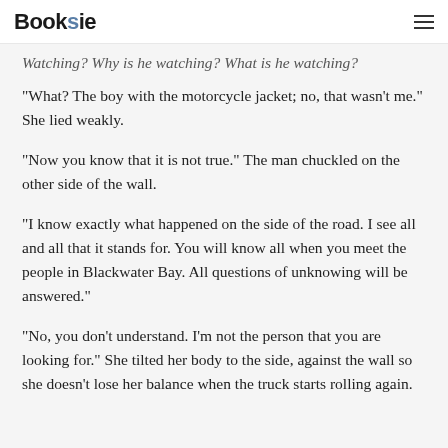Booksie
Watching? Why is he watching? What is he watching?
“What? The boy with the motorcycle jacket; no, that wasn’t me.” She lied weakly.
“Now you know that it is not true.” The man chuckled on the other side of the wall.
“I know exactly what happened on the side of the road. I see all and all that it stands for. You will know all when you meet the people in Blackwater Bay. All questions of unknowing will be answered.”
“No, you don’t understand. I’m not the person that you are looking for.” She tilted her body to the side, against the wall so she doesn’t lose her balance when the truck starts rolling again.